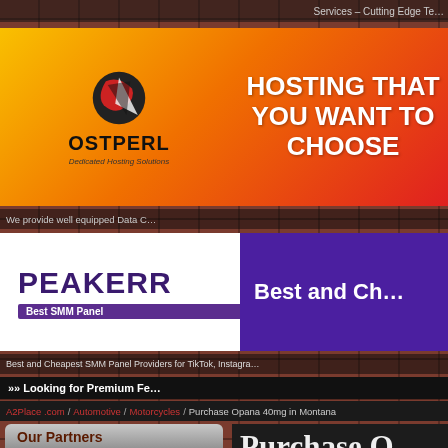Services – Cutting Edge Te…
[Figure (screenshot): HostPerl Dedicated Hosting Solutions banner with orange-red gradient background and text: HOSTING THAT YOU WANT TO CHOOSE]
We provide well equipped Data C…
[Figure (screenshot): PEAKERR Best SMM Panel banner with white and purple sections, text: Best and Ch…]
Best and Cheapest SMM Panel Providers for TikTok, Instagra…
»» Looking for Premium Fe…
A2Place.com / Automotive / Motorcycles / Purchase Opana 40mg in Montana
Our Partners
[Figure (logo): RUSSPUSS red background white bold text logo]
Purchase O… in Montana
Website URL: https://www.painonlinep…
Category: